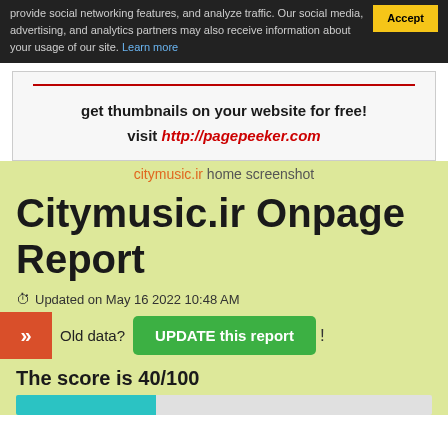provide social networking features, and analyze traffic. Our social media, advertising, and analytics partners may also receive information about your usage of our site. Learn more
[Figure (screenshot): White box with red underline, text 'get thumbnails on your website for free!' and 'visit http://pagepeeker.com' in red italic]
citymusic.ir home screenshot
Citymusic.ir Onpage Report
Updated on May 16 2022 10:48 AM
Old data? UPDATE this report !
The score is 40/100